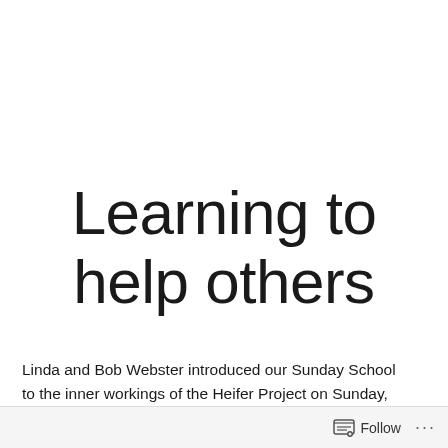Learning to help others
Linda and Bob Webster introduced our Sunday School to the inner workings of the Heifer Project on Sunday, launching what will be a long-term iniative to teach our children about worldwide hunger and poverty.
Follow ···